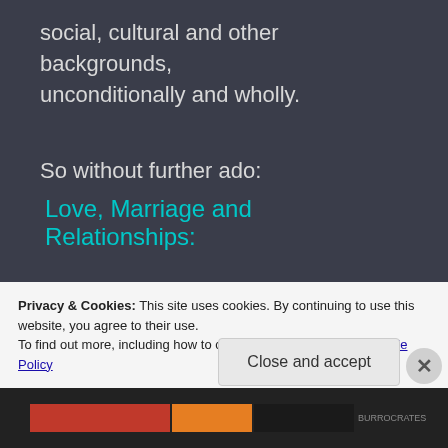social, cultural and other backgrounds, unconditionally and wholly.
So without further ado:
Love, Marriage and Relationships:
This one needs no explanation because of a lengthy column I wrote about on this topic (click
Privacy & Cookies: This site uses cookies. By continuing to use this website, you agree to their use.
To find out more, including how to control cookies, see here: Cookie Policy
Close and accept